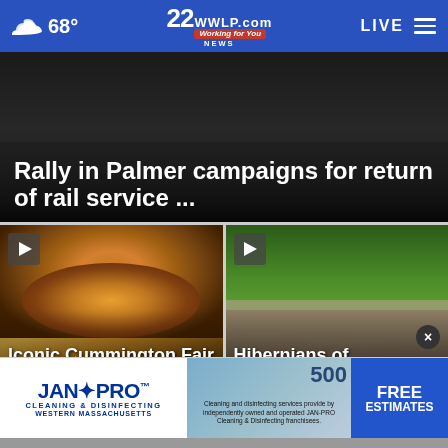68° — 22NEWS WWLP.com Working for You — LIVE
[Figure (screenshot): Dark video thumbnail for rally in Palmer rail service story]
Rally in Palmer campaigns for return of rail service ...
[Figure (photo): Carnival swing ride - Iconic Cummington Fair wraps up this weekend for ...]
Iconic Cummington Fair wraps up this weekend for
[Figure (photo): People gathered at outdoor event - Hibernians of Hampden/Hamps County h...]
Hibernians of Hampden/Hamps County h
[Figure (other): JAN-PRO Cleaning & Disinfecting advertisement with FREE ESTIMATES call to action]